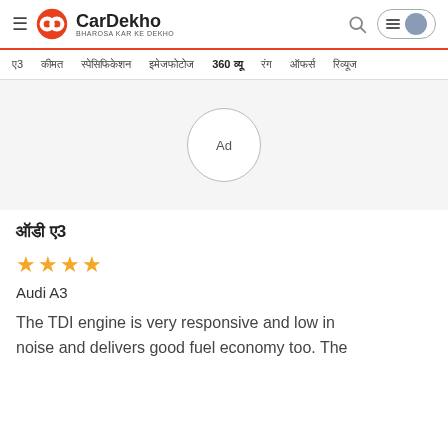[Figure (logo): CarDekho logo with hamburger menu, orange circular icon, brand name 'CarDekho', tagline 'BHAROSA KAR KE DEKHO', search icon, and user profile button on the right]
ए3  कीमत  स्पेसिफिकेशन  इमेजफोटोज  360 व्यू  रंग  ऑफर्स  रिव्यूज
[Figure (other): Ad placeholder — grey background with 'Ad' text in a circle]
ऑडी ए3
[Figure (other): 4 orange star rating]
Audi A3
The TDI engine is very responsive and low in noise and delivers good fuel economy too. The